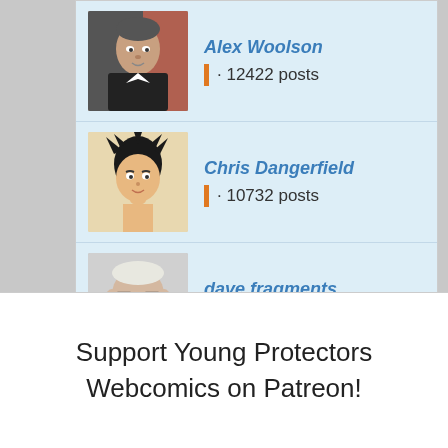Alex Woolson · 12422 posts
Chris Dangerfield · 10732 posts
dave fragments · 10379 posts
Dokidokibaka · 8062 posts
community on DISQUS
Support Young Protectors Webcomics on Patreon!